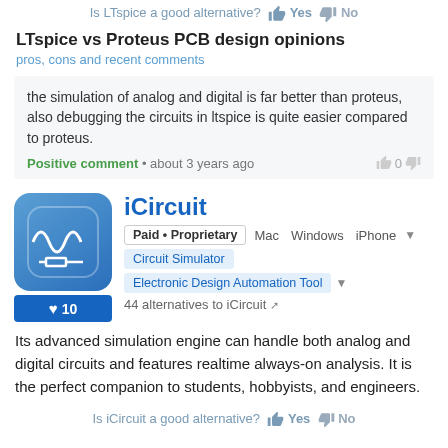Is LTspice a good alternative? Yes No
LTspice vs Proteus PCB design opinions
pros, cons and recent comments
the simulation of analog and digital is far better than proteus, also debugging the circuits in ltspice is quite easier compared to proteus.
Positive comment • about 3 years ago  0
[Figure (logo): iCircuit app icon — blue gradient rounded square with circuit symbol (oscilloscope wave and resistor)]
iCircuit
Paid • Proprietary   Mac   Windows   iPhone
Circuit Simulator   Electronic Design Automation Tool
44 alternatives to iCircuit
Its advanced simulation engine can handle both analog and digital circuits and features realtime always-on analysis. It is the perfect companion to students, hobbyists, and engineers.
Is iCircuit a good alternative? Yes No